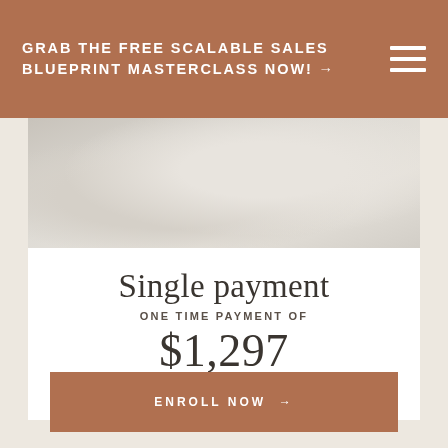GRAB THE FREE SCALABLE SALES BLUEPRINT MASTERCLASS NOW! →
[Figure (photo): Lifestyle photo of a person working at a desk, soft blurred background in light gray and cream tones]
Single payment
ONE TIME PAYMENT OF
$1,297
ENROLL NOW →